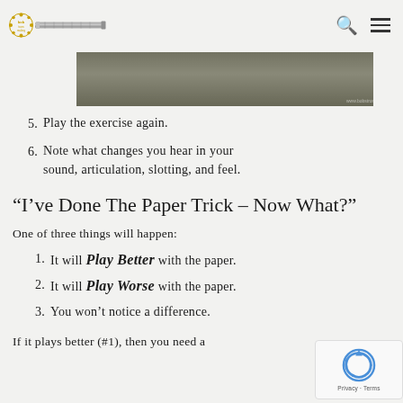bob's trombone making blog – navigation with search and menu icons
[Figure (photo): Partial grayscale/muted photo of what appears to be a trombone or instrument part, khaki/gray tones, with watermark text 'www.bobstroms.com' in bottom right]
5. Play the exercise again.
6. Note what changes you hear in your sound, articulation, slotting, and feel.
“I’ve Done The Paper Trick – Now What?”
One of three things will happen:
1. It will Play Better with the paper.
2. It will Play Worse with the paper.
3. You won’t notice a difference.
If it plays better (#1), then you need a